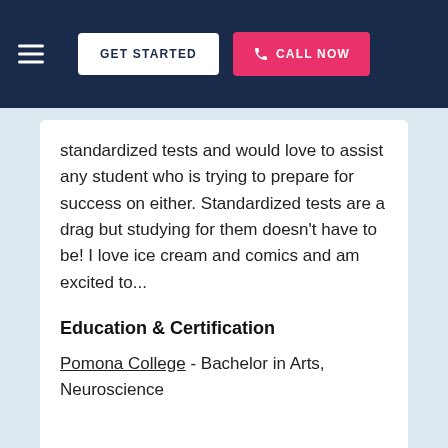GET STARTED | CALL NOW
standardized tests and would love to assist any student who is trying to prepare for success on either. Standardized tests are a drag but studying for them doesn't have to be! I love ice cream and comics and am excited to...
Education & Certification
Pomona College - Bachelor in Arts, Neuroscience
View this Pomona GRE Tutor ►